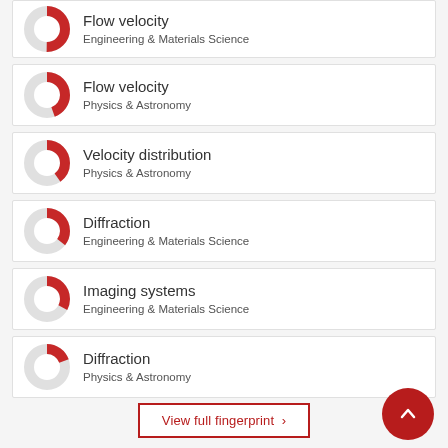Flow velocity — Engineering & Materials Science
Flow velocity — Physics & Astronomy
Velocity distribution — Physics & Astronomy
Diffraction — Engineering & Materials Science
Imaging systems — Engineering & Materials Science
Diffraction — Physics & Astronomy
View full fingerprint ›